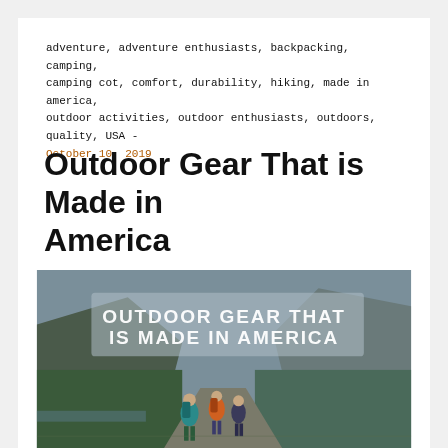adventure, adventure enthusiasts, backpacking, camping, camping cot, comfort, durability, hiking, made in america, outdoor activities, outdoor enthusiasts, outdoors, quality, USA - October 10, 2019
Outdoor Gear That is Made in America
[Figure (photo): Photo of hikers with backpacks walking through a mountain valley with trees and cliffs. Overlaid text reads: OUTDOOR GEAR THAT IS MADE IN AMERICA]